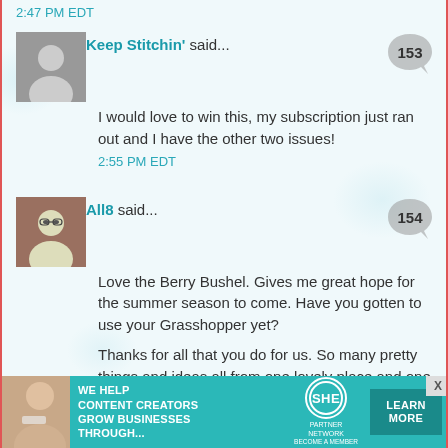2:47 PM EDT
Keep Stitchin' said...
I would love to win this, my subscription just ran out and I have the other two issues!
2:55 PM EDT
All8 said...
Love the Berry Bushel. Gives me great hope for the summer season to come. Have you gotten to use your Grasshopper yet?

Thanks for all that you do for us. So many pretty things and ideas all from one lovely place and one lovely lady. Thank you.
2:55 PM EDT
Joanne said...
[Figure (infographic): SHE Partner Network advertisement banner: We help content creators grow businesses through... with a Learn More button and X close button]